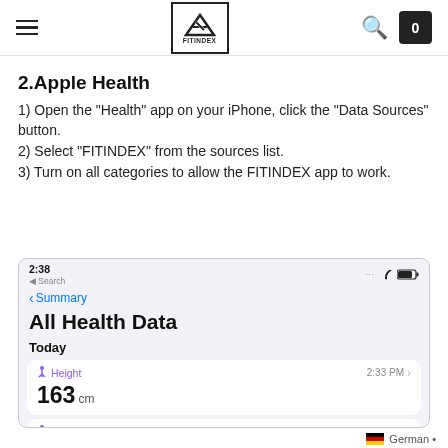FITINDEX — navigation header with hamburger menu, logo, search icon, and cart (0)
2.Apple Health
1) Open the "Health" app on your iPhone, click the "Data Sources" button.
2) Select "FITINDEX" from the sources list.
3) Turn on all categories to allow the FITINDEX app to work.
[Figure (screenshot): iPhone screenshot showing Apple Health app 'All Health Data' screen with Height (163 cm) and Body Mass Index (18.4 BMI) entries]
German •